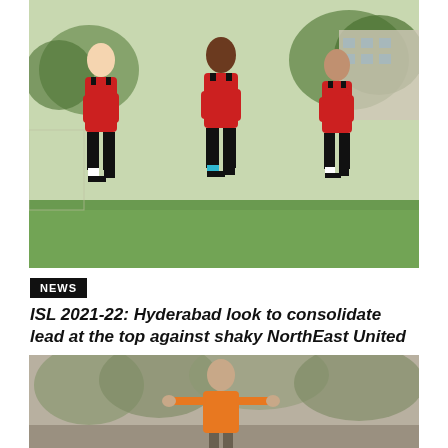[Figure (photo): Three Hyderabad FC players in red and black training kits jogging on a green grass training pitch]
NEWS
ISL 2021-22: Hyderabad look to consolidate lead at the top against shaky NorthEast United
[Figure (photo): A footballer in an orange bib vest with arms outstretched on a training pitch]